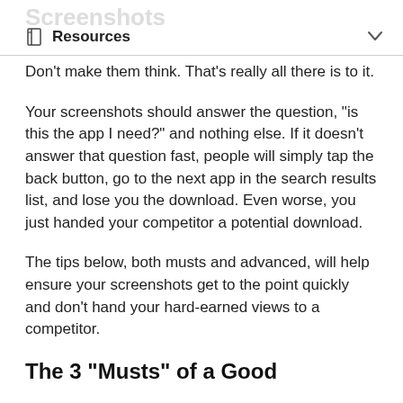Screenshots  Resources
Don't make them think. That's really all there is to it.
Your screenshots should answer the question, "is this the app I need?" and nothing else. If it doesn't answer that question fast, people will simply tap the back button, go to the next app in the search results list, and lose you the download. Even worse, you just handed your competitor a potential download.
The tips below, both musts and advanced, will help ensure your screenshots get to the point quickly and don't hand your hard-earned views to a competitor.
The 3 "Musts" of a Good